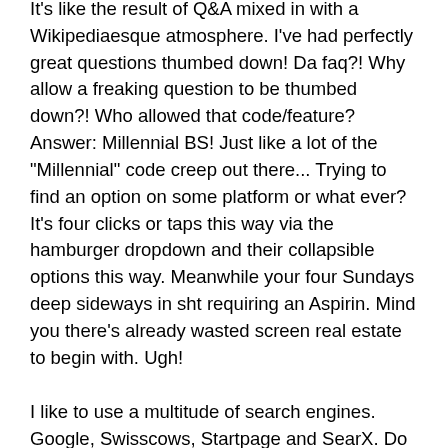It's like the result of Q&A mixed in with a Wikipediaesque atmosphere. I've had perfectly great questions thumbed down! Da faq?! Why allow a freaking question to be thumbed down?! Who allowed that code/feature? Answer: Millennial BS! Just like a lot of the "Millennial" code creep out there... Trying to find an option on some platform or what ever? It's four clicks or taps this way via the hamburger dropdown and their collapsible options this way. Meanwhile your four Sundays deep sideways in sht requiring an Aspirin. Mind you there's already wasted screen real estate to begin with. Ugh!
I like to use a multitude of search engines. Google, Swisscows, Startpage and SearX. Do check out SearX. You can even roll your own server. Just like with the password manager Bitwarden.
Don't ever trust a VPN. Each VPN has its own use case.